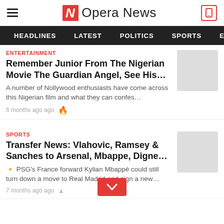Opera News
HEADLINES   LATEST   POLITICS   SPORTS   EN
ENTERTAINMENT
Remember Junior From The Nigerian Movie The Guardian Angel, See His…
A number of Nollywood enthusiasts have come across this Nigerian film and what they can confes…
6 months ago ago
SPORTS
Transfer News: Vlahovic, Ramsey & Sanches to Arsenal, Mbappe, Digne…
🔸 PSG's France forward Kylian Mbappé could still turn down a move to Real Madrid and sign a new…
7 months ago ago